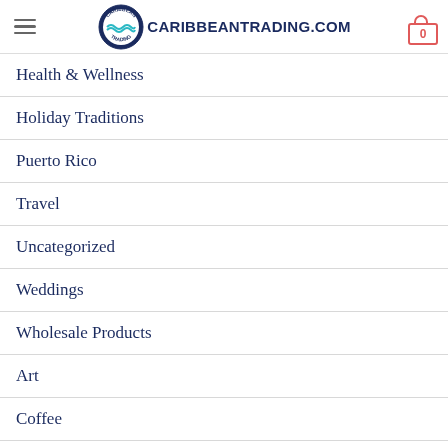CARIBBEANTRADING.COM
Health & Wellness
Holiday Traditions
Puerto Rico
Travel
Uncategorized
Weddings
Wholesale Products
Art
Coffee
Culture